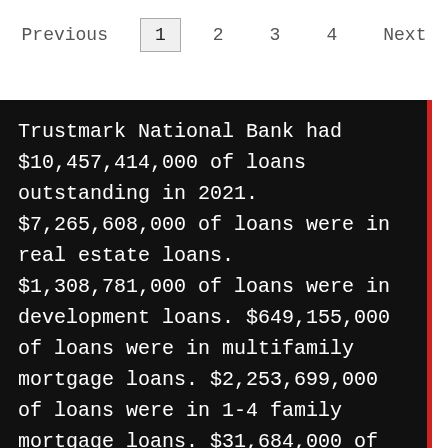Previous  1  2  3  4  Next
Trustmark National Bank had $10,457,414,000 of loans outstanding in 2021. $7,265,608,000 of loans were in real estate loans. $1,308,781,000 of loans were in development loans. $649,155,000 of loans were in multifamily mortgage loans. $2,253,699,000 of loans were in 1-4 family mortgage loans. $31,684,000 of loans were in farm loans. $31,670,000 of loans were